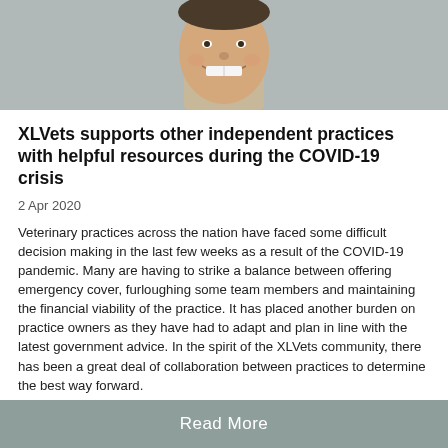[Figure (photo): Photo of a smiling man, cropped to show lower face and collar, gray background]
XLVets supports other independent practices with helpful resources during the COVID-19 crisis
2 Apr 2020
Veterinary practices across the nation have faced some difficult decision making in the last few weeks as a result of the COVID-19 pandemic. Many are having to strike a balance between offering emergency cover, furloughing some team members and maintaining the financial viability of the practice. It has placed another burden on practice owners as they have had to adapt and plan in line with the latest government advice. In the spirit of the XLVets community, there has been a great deal of collaboration between practices to determine the best way forward.
Read More